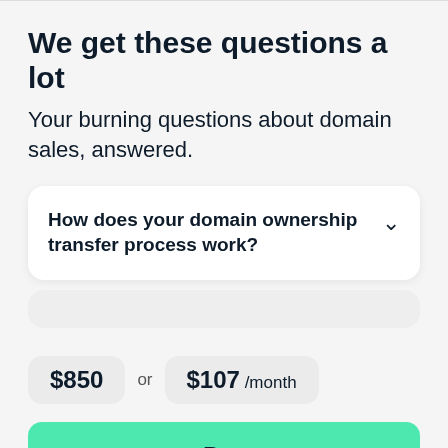We get these questions a lot
Your burning questions about domain sales, answered.
How does your domain ownership transfer process work?
$850 or $107 /month
Buy